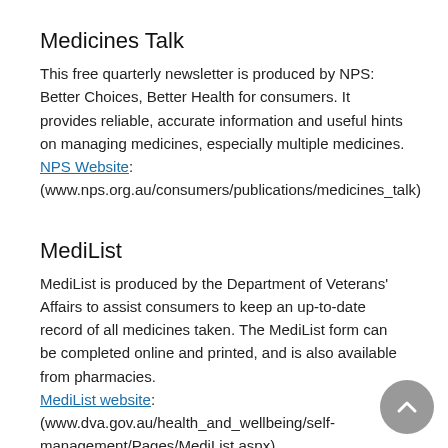Medicines Talk
This free quarterly newsletter is produced by NPS: Better Choices, Better Health for consumers. It provides reliable, accurate information and useful hints on managing medicines, especially multiple medicines.
NPS Website: (www.nps.org.au/consumers/publications/medicines_talk)
MediList
MediList is produced by the Department of Veterans' Affairs to assist consumers to keep an up-to-date record of all medicines taken. The MediList form can be completed online and printed, and is also available from pharmacies.
MediList website: (www.dva.gov.au/health_and_wellbeing/self-management/Pages/MediList.aspx)
Medimate
Medimate is a free brochure produced by NPS: Better Choices, Better Health to help consumers find, understand and use information about medicines. Medimate covers prescription, non-prescription and complementary medicines. Medimate is available in several community languages.